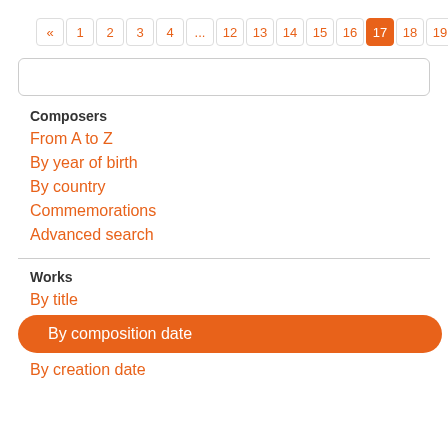[Figure (other): Pagination bar showing page numbers: «, 1, 2, 3, 4, ..., 12, 13, 14, 15, 16, 17 (active/highlighted in orange), 18, 19, 20, »]
[Figure (other): Search input box, empty, with rounded border]
Composers
From A to Z
By year of birth
By country
Commemorations
Advanced search
Works
By title
By composition date
By creation date